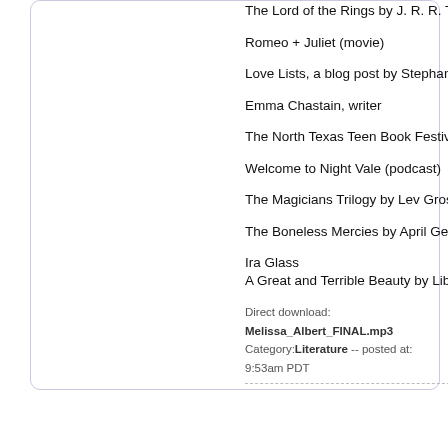The Lord of the Rings by J. R. R. Tolkien
Romeo + Juliet (movie)
Love Lists, a blog post by Stephanie Perkins
Emma Chastain, writer
The North Texas Teen Book Festival
Welcome to Night Vale (podcast)
The Magicians Trilogy by Lev Grossman
The Boneless Mercies by April Genevieve T
Ira Glass
A Great and Terrible Beauty by Libba Bray (
Direct download: Melissa_Albert_FINAL.mp3
Category:Literature -- posted at: 9:53am PDT